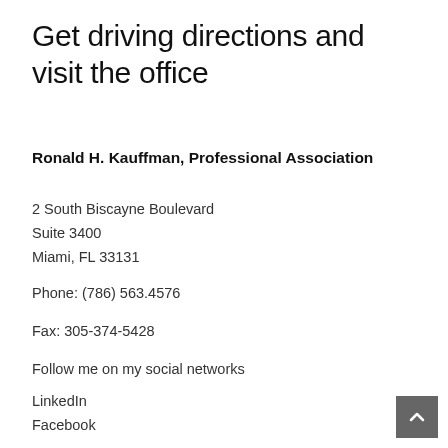Get driving directions and visit the office
Ronald H. Kauffman, Professional Association
2 South Biscayne Boulevard
Suite 3400
Miami, FL 33131
Phone: (786) 563.4576
Fax: 305-374-5428
Follow me on my social networks
LinkedIn
Facebook
Twitter